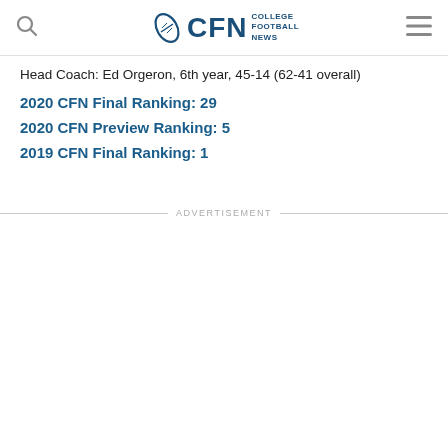CFN College Football News
Head Coach: Ed Orgeron, 6th year, 45-14 (62-41 overall)
2020 CFN Final Ranking: 29
2020 CFN Preview Ranking: 5
2019 CFN Final Ranking: 1
ADVERTISEMENT